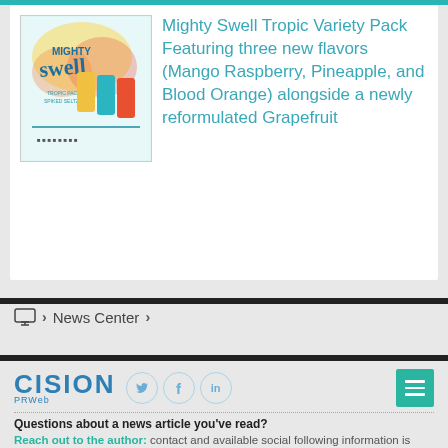[Figure (photo): Mighty Swell Tropic Variety Pack product image showing cans]
Mighty Swell Tropic Variety Pack Featuring three new flavors (Mango Raspberry, Pineapple, and Blood Orange) alongside a newly reformulated Grapefruit
News Center
[Figure (logo): CISION PRWeb logo with Twitter, Facebook, LinkedIn social icons and hamburger menu button]
Questions about a news article you've read?
Reach out to the author: contact and available social following information is listed in the top-right of all news releases.
Questions about your PRWeb account or interested in learning more about our news services?
Call PRWeb:1-866-640-6397